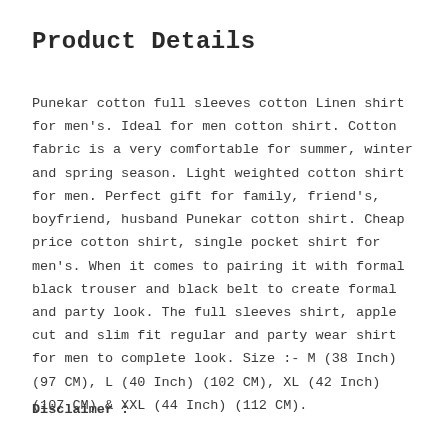Product Details
Punekar cotton full sleeves cotton Linen shirt for men's. Ideal for men cotton shirt. Cotton fabric is a very comfortable for summer, winter and spring season. Light weighted cotton shirt for men. Perfect gift for family, friend's, boyfriend, husband Punekar cotton shirt. Cheap price cotton shirt, single pocket shirt for men's. When it comes to pairing it with formal black trouser and black belt to create formal and party look. The full sleeves shirt, apple cut and slim fit regular and party wear shirt for men to complete look. Size :- M (38 Inch) (97 CM), L (40 Inch) (102 CM), XL (42 Inch) (107 CM) & XXL (44 Inch) (112 CM).
Disclaimer :